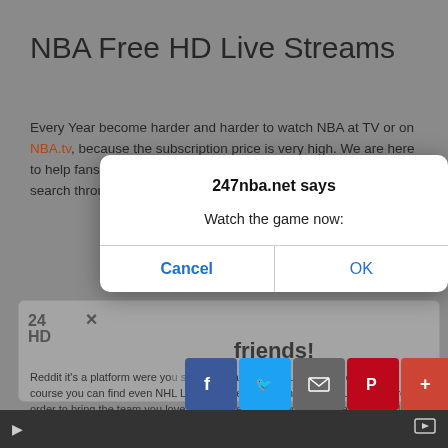NBA Free HD Live Streams
Every Year become harder and harder to watch NBA at TV or on NBA.tv, because the subscription price is very high. We are here to help fans to watch their favorite team live in HD for FREE. We search through internet for st…
[Figure (screenshot): Browser dialog box from 247nba.net saying 'Watch the game now:' with Cancel and OK buttons. Behind it is a webpage with social sharing buttons (Facebook, Twitter, Email, Pinterest, Add) and text about sharing with friends.]
Reddit it's a platform were you search for anything you want and don't want. Of course you can find even NHL Live HD Streams, even we post our links there in order to bring the team you love more closer to you, but the easiest way to do that is to search in our subreddit (link). We update our schedule very fast for every stream you are looking for, because we cover all of games, even Preseason Games